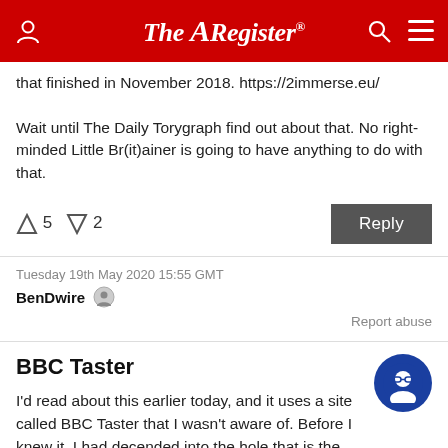The Register
that finished in November 2018. https://2immerse.eu/

Wait until The Daily Torygraph find out about that. No right-minded Little Br(it)ainer is going to have anything to do with that.
↑5  ↓2   Reply
Tuesday 19th May 2020 15:55 GMT
BenDwire
Report abuse
BBC Taster
I'd read about this earlier today, and it uses a site called BBC Taster that I wasn't aware of. Before I knew it, I had decended into the hole that is the BBC Computer Literacy Project 1980-89. I started watching Series 1 Episode 1 and just couldn't tear myself away from the nostalia and amazing predictions. If you